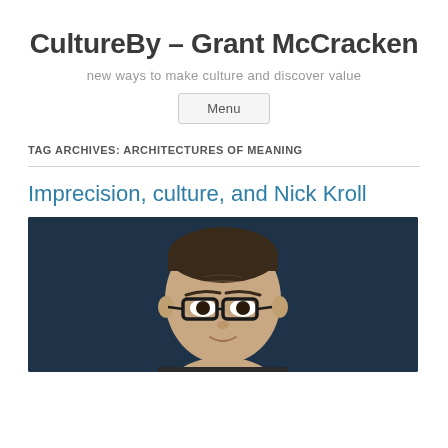CultureBy – Grant McCracken
new ways to make culture and discover value
Menu
TAG ARCHIVES: ARCHITECTURES OF MEANING
Imprecision, culture, and Nick Kroll
[Figure (photo): Photo of a man with short dark hair and glasses, photographed against a dark blue background, shown from roughly the shoulders up.]